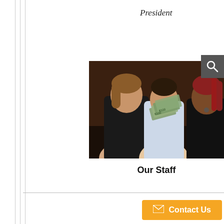President
[Figure (photo): Three women sitting at a table, one holding a fan of cash/banknotes, in a wood-paneled room. A search icon overlay appears in the top right corner of the image.]
Our Staff
Contact Us